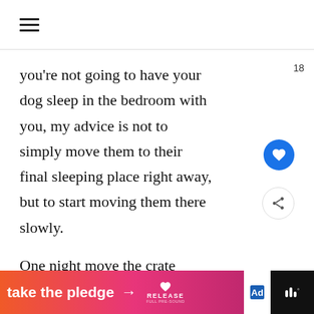☰ (hamburger menu icon)
you're not going to have your dog sleep in the bedroom with you, my advice is not to simply move them to their final sleeping place right away, but to start moving them there slowly.
One night move the crate next to the bedroom door. The next n move it outside the door, but
[Figure (infographic): WHAT'S NEXT arrow label with thumbnail image and text 'Recommended Products &...']
take the pledge → RELEASE | ad icon | ⋮⋮⋮°